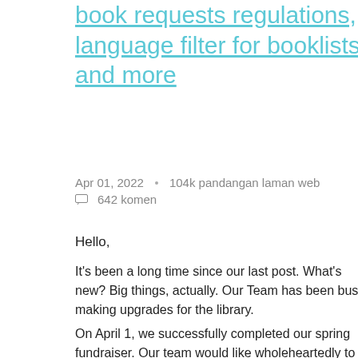book requests regulations, language filter for booklists, and more
Apr 01, 2022  104k pandangan laman web  642 komen
Hello,
It's been a long time since our last post. What's new? Big things, actually. Our Team has been busy making upgrades for the library.
On April 1, we successfully completed our spring fundraiser. Our team would like wholeheartedly to thank all the users who participated (and those who couldn't support us but really wanted to) in the spring fundraiser. We have also considered all of your wishes and suggestions to improve the project. Thank you very much!